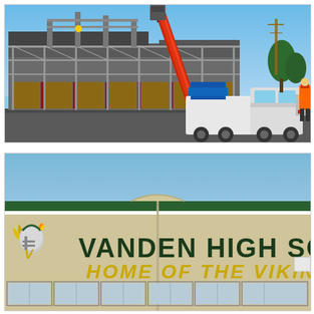[Figure (photo): Construction site showing a building under scaffolding with a large red crane and white semi-truck. A worker in a safety vest stands on the right. Building materials being hoisted by crane.]
[Figure (photo): Exterior facade of Vanden High School building with the school name and tagline painted on the wall. Text reads 'VANDEN HIGH SCHOOL' in large dark green letters and 'HOME OF THE VIKINGS' in yellow-gold italic letters. A Viking mascot logo is on the left. The building is beige/tan with a green trim stripe and windows along the bottom.]